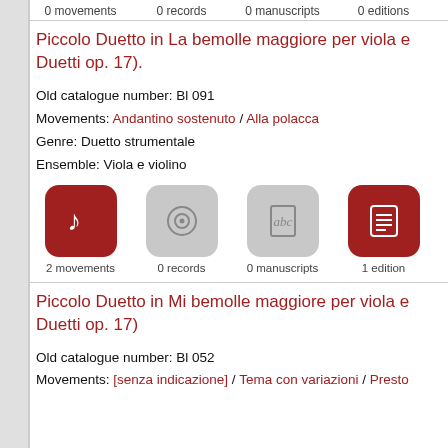0 movements  0 records  0 manuscripts  0 editions
Piccolo Duetto in La bemolle maggiore per viola e Duetti op. 17).
Old catalogue number: Bl 091
Movements: Andantino sostenuto / Alla polacca
Genre: Duetto strumentale
Ensemble: Viola e violino
[Figure (infographic): Four icons: music note (active, 2 movements), record (inactive, 0 records), manuscript/abc (inactive, 0 manuscripts), document (active, 1 edition)]
Piccolo Duetto in Mi bemolle maggiore per viola e Duetti op. 17)
Old catalogue number: Bl 052
Movements: [senza indicazione] / Tema con variazioni / Presto